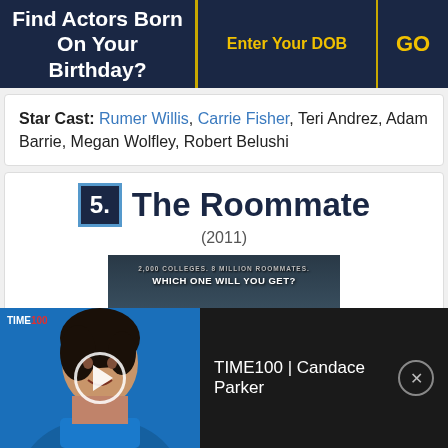Find Actors Born On Your Birthday?  [Enter Your DOB] [GO]
Star Cast: Rumer Willis, Carrie Fisher, Teri Andrez, Adam Barrie, Megan Wolfley, Robert Belushi
5. The Roommate (2011)
[Figure (photo): Movie poster for The Roommate (2011) showing a gothic university building at night with tagline '2,000 COLLEGES. 8 MILLION ROOMMATES. WHICH ONE WILL YOU GET?']
[Figure (screenshot): TIME100 video ad featuring Candace Parker with play button overlay and close button]